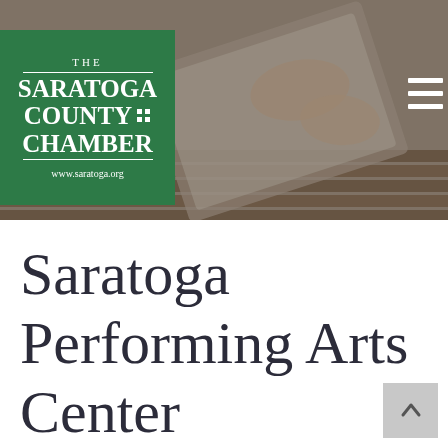[Figure (photo): Background photo of hands working with a tablet/laptop on a wooden table, dimmed/muted tones. Saratoga County Chamber logo overlaid on green background in top left. Hamburger menu icon in top right.]
Saratoga Performing Arts Center